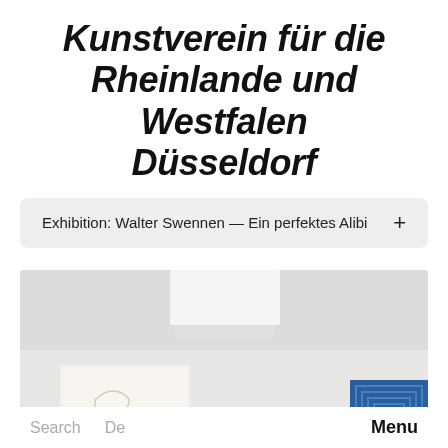Kunstverein für die Rheinlande und Westfalen Düsseldorf
Exhibition: Walter Swennen — Ein perfektes Alibi
[Figure (photo): Gallery interior showing a white wall with two artworks: on the left a small framed piece with a light background and a sketch with handwriting 'Snook', and on the right edge a blue geometric artwork. A white rectangular light fixture is mounted on the ceiling above.]
Search   De   Menu